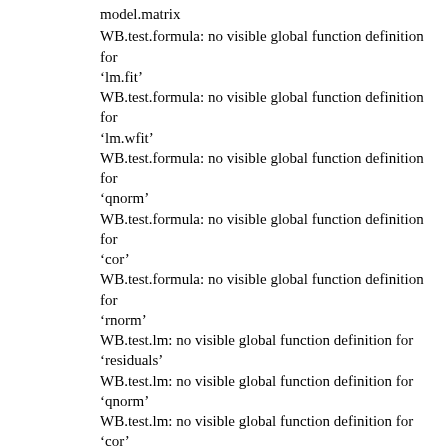model.matrix
WB.test.formula: no visible global function definition for ‘lm.fit’
WB.test.formula: no visible global function definition for ‘lm.wfit’
WB.test.formula: no visible global function definition for ‘qnorm’
WB.test.formula: no visible global function definition for ‘cor’
WB.test.formula: no visible global function definition for ‘rnorm’
WB.test.lm: no visible global function definition for ‘residuals’
WB.test.lm: no visible global function definition for ‘qnorm’
WB.test.lm: no visible global function definition for ‘cor’
WB.test.lm: no visible global function definition for ‘rnorm’
added.variable.plots.formula: no visible global function definition for ‘model.response’
added.variable.plots.formula: no visible global function definition for ‘model.weights’
added.variable.plots.formula: no visible global function definition for ‘model.offset’
added.variable.plots.formula: no visible global function